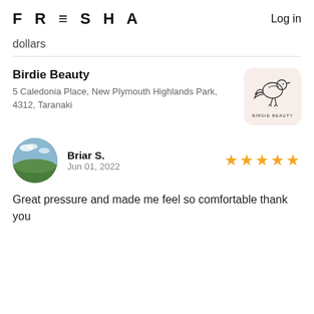FRESHA  Log in
dollars
Birdie Beauty
5 Caledonia Place, New Plymouth Highlands Park, 4312, Taranaki
[Figure (logo): Birdie Beauty logo — bird illustration on pink/peach rounded background]
Briar S.
Jun 01, 2022
[Figure (photo): Circular profile photo of reviewer Briar S. showing a landscape with green fields and sky]
★★★★★
Great pressure and made me feel so comfortable thank you